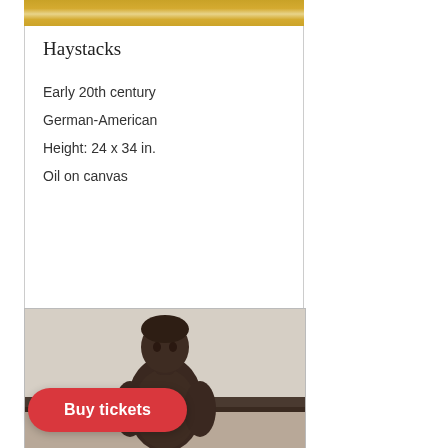[Figure (photo): Top portion of a framed painting showing an ornate gold frame at the top edge]
Haystacks
Early 20th century
German-American
Height: 24 x 34 in.
Oil on canvas
[Figure (photo): Photograph of a bronze sculpture of a standing figure (boy or young person) wearing a jacket, against a beige wall with a dark horizontal railing behind]
Buy tickets